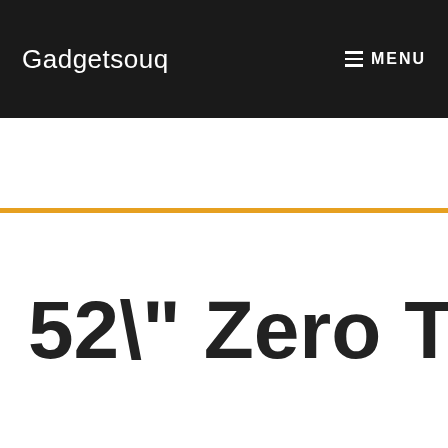Gadgetsouq    MENU
52" Zero Turn M